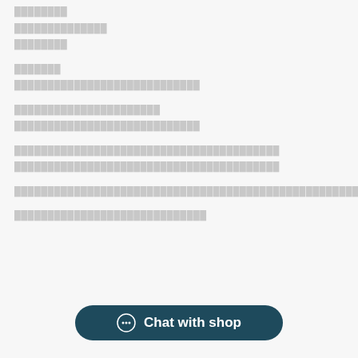████████
██████████████
████████
███████
████████████████████████████
██████████████████████
████████████████████████████
████████████████████████████████████████
████████████████████████████████████████
████████████████████████████████████████████████████████████████████████████████
█████████████████████████████
Chat with shop